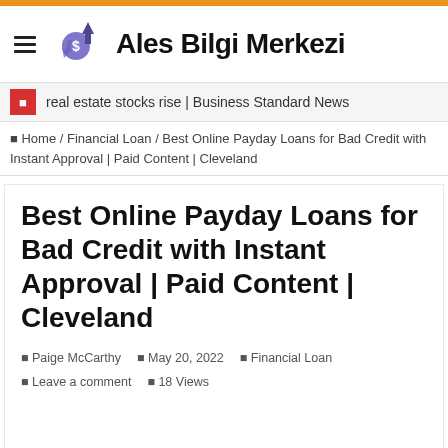Ales Bilgi Merkezi
real estate stocks rise | Business Standard News
Home / Financial Loan / Best Online Payday Loans for Bad Credit with Instant Approval | Paid Content | Cleveland
Best Online Payday Loans for Bad Credit with Instant Approval | Paid Content | Cleveland
Paige McCarthy  May 20, 2022  Financial Loan  Leave a comment  18 Views
click to enlarge